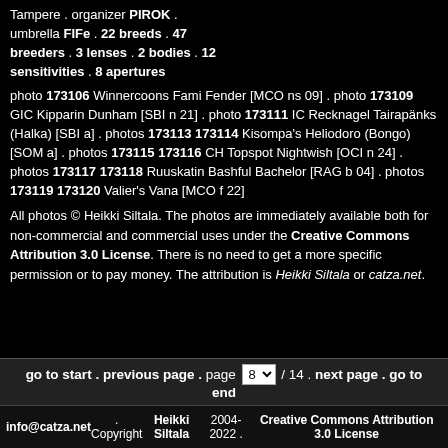Tampere . organizer PIROK . umbrella FIFe . 22 breeds . 47 breeders . 3 lenses . 2 bodies . 12 sensitivities . 8 apertures
photo 173106 Winnercoons Fami Fender [MCO ns 09] . photo 173109 GIC Kipparin Dunham [SBI n 21] . photo 173111 IC Recknagel Tairapänks (Halka) [SBI a] . photos 173113 173114 Kisompa's Heliodoro (Bongo) [SOM a] . photos 173115 173116 CH Topspot Nightwish [OCI n 24] . photos 173117 173118 Ruuskatin Bashful Bachelor [RAG b 04] . photos 173119 173120 Valier's Vana [MCO f 22]
All photos © Heikki Siltala. The photos are immediately available both for non-commercial and commercial uses under the Creative Commons Attribution 3.0 License. There is no need to get a more specific permission or to pay money. The attribution is Heikki Siltala or catza.net.
go to start . previous page . page 8 / 14 . next page . go to end
info@catza.net . Copyright Heikki Siltala 2004-2022 . Creative Commons Attribution 3.0 License